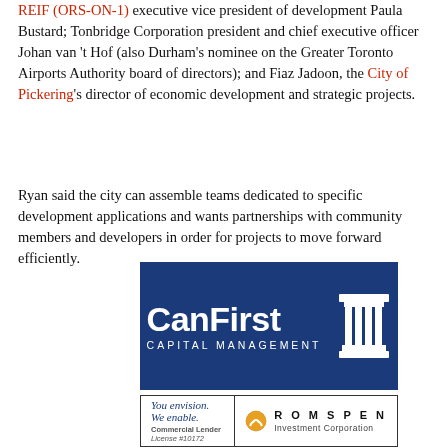REIF (ORS-ON-1) executive vice president of development Paula Bustard; Tonbridge Corporation president and chief executive officer Johan van 't Hof (also Durham's nominee on the Greater Toronto Airports Authority board of directors); and Fiaz Jadoon, the City of Pickering's director of economic development and strategic projects.
Ryan said the city can assemble teams dedicated to specific development applications and wants partnerships with community members and developers in order for projects to move forward efficiently.
[Figure (logo): CanFirst Capital Management logo — white text on dark blue background with classical column/pillar icon]
[Figure (logo): Romspen Investment Corporation ad — 'You envision. We enable.' tagline, Commercial Lender License #10172, with Romspen logo]